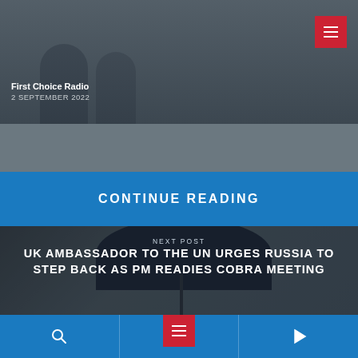[Figure (photo): Black and white photo of people, with 'First Choice Radio' text and date overlay]
First Choice Radio
2 SEPTEMBER 2022
CONTINUE READING
NEXT POST
UK AMBASSADOR TO THE UN URGES RUSSIA TO STEP BACK AS PM READIES COBRA MEETING
[Figure (photo): Photo of person with umbrella outside building]
Navigation toolbar with search, copy, and play icons